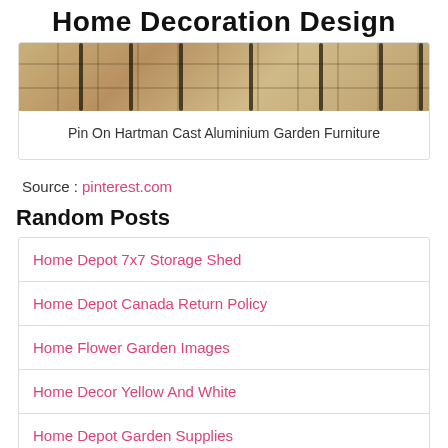Home Decoration Design
[Figure (photo): Partial view of stone patio with dark metal garden furniture (chairs) visible at the top of the card image.]
Pin On Hartman Cast Aluminium Garden Furniture
Source : pinterest.com
Random Posts
Home Depot 7x7 Storage Shed
Home Depot Canada Return Policy
Home Flower Garden Images
Home Decor Yellow And White
Home Depot Garden Supplies